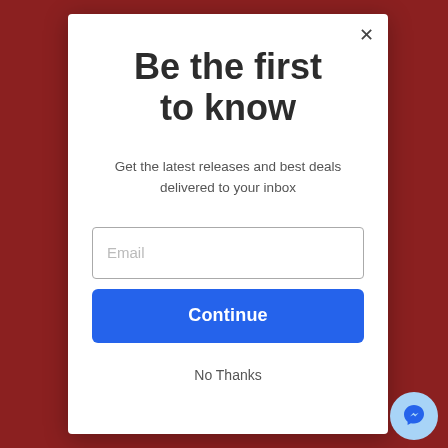Be the first to know
Get the latest releases and best deals delivered to your inbox
[Figure (screenshot): Email input field with placeholder text 'Email']
[Figure (screenshot): Blue 'Continue' button]
No Thanks